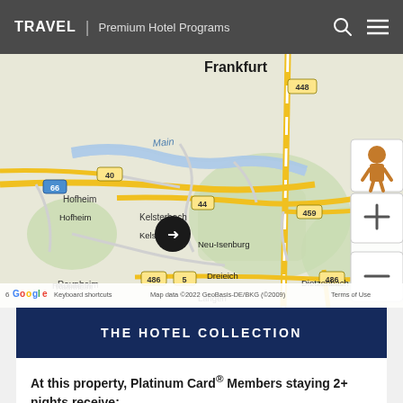TRAVEL | Premium Hotel Programs
[Figure (map): Google Map showing Frankfurt area including Hofheim, Kelsterbach, Raunheim, Rüsselsheim, Neu-Isenburg, Dreieich, Dietzenbach, Langen, Rodgau, with road numbers 40, 44, 66, 448, 459, 486, 5. Airplane/hotel marker near Kelsterbach. Zoom controls (+/-) and street view pegman visible. Copyright text: Keyboard shortcuts | Map data ©2022 GeoBasis-DE/BKG (©2009) | Terms of Use]
THE HOTEL COLLECTION
At this property, Platinum Card® Members staying 2+ nights receive: